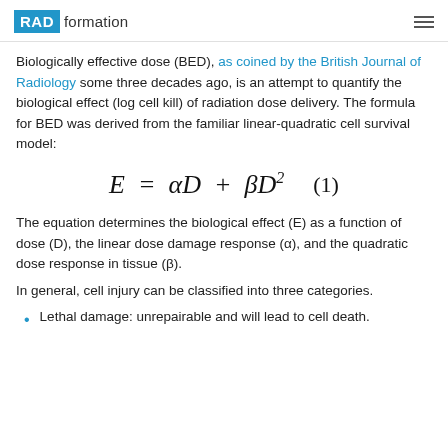RAD formation
Biologically effective dose (BED), as coined by the British Journal of Radiology some three decades ago, is an attempt to quantify the biological effect (log cell kill) of radiation dose delivery. The formula for BED was derived from the familiar linear-quadratic cell survival model:
The equation determines the biological effect (E) as a function of dose (D), the linear dose damage response (α), and the quadratic dose response in tissue (β).
In general, cell injury can be classified into three categories.
Lethal damage: unrepairable and will lead to cell death.